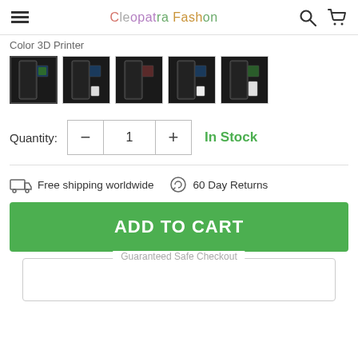CLEOPATRA FASHION
Color 3D Printer
[Figure (photo): Five product thumbnail images of a 3D printer in dark color, shown from different angles with accessories]
Quantity: 1   In Stock
Free shipping worldwide   60 Day Returns
ADD TO CART
Guaranteed Safe Checkout